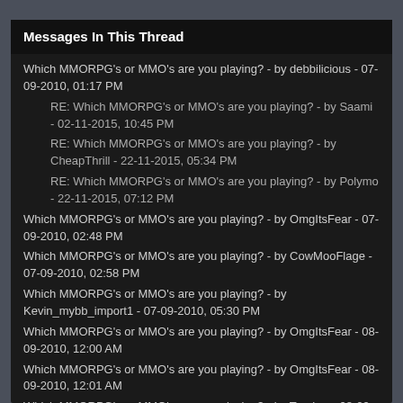Messages In This Thread
Which MMORPG's or MMO's are you playing? - by debbilicious - 07-09-2010, 01:17 PM
RE: Which MMORPG's or MMO's are you playing? - by Saami - 02-11-2015, 10:45 PM
RE: Which MMORPG's or MMO's are you playing? - by CheapThrill - 22-11-2015, 05:34 PM
RE: Which MMORPG's or MMO's are you playing? - by Polymo - 22-11-2015, 07:12 PM
Which MMORPG's or MMO's are you playing? - by OmgItsFear - 07-09-2010, 02:48 PM
Which MMORPG's or MMO's are you playing? - by CowMooFlage - 07-09-2010, 02:58 PM
Which MMORPG's or MMO's are you playing? - by Kevin_mybb_import1 - 07-09-2010, 05:30 PM
Which MMORPG's or MMO's are you playing? - by OmgItsFear - 08-09-2010, 12:00 AM
Which MMORPG's or MMO's are you playing? - by OmgItsFear - 08-09-2010, 12:01 AM
Which MMORPG's or MMO's are you playing? - by Targhor - 08-09-2010, 09:25 AM